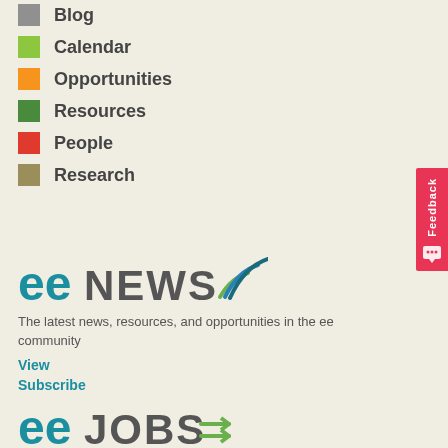Blog
Calendar
Opportunities
Resources
People
Research
[Figure (logo): eeNEWS logo with wifi signal icon]
The latest news, resources, and opportunities in the ee community
View
Subscribe
[Figure (logo): eeJOBS logo with arrow icon (partially visible)]